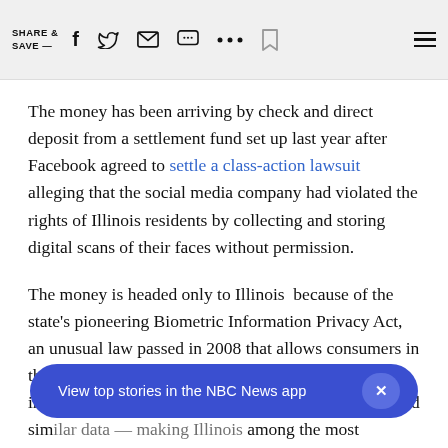SHARE & SAVE —
The money has been arriving by check and direct deposit from a settlement fund set up last year after Facebook agreed to settle a class-action lawsuit alleging that the social media company had violated the rights of Illinois residents by collecting and storing digital scans of their faces without permission.
The money is headed only to Illinois  because of the state's pioneering Biometric Information Privacy Act, an unusual law passed in 2008 that allows consumers in the state to sue companies for privacy violations involving fingerprints, retina scans, facial geometry and sim... among the most aggressive places in the world in terms
View top stories in the NBC News app